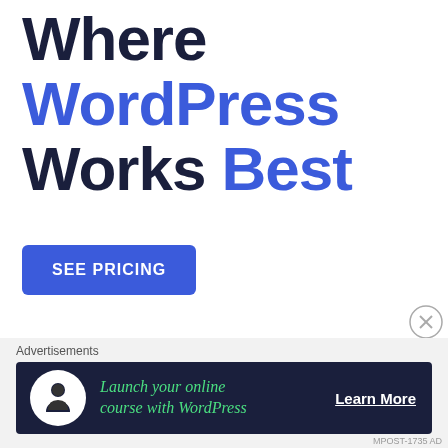Where WordPress Works Best
SEE PRICING
Advertisements
[Figure (infographic): Dark navy advertisement banner with circular white icon featuring a person/learning symbol, green italic text 'Launch your online course with WordPress', and white 'Learn More' button text]
MPOST-1735 AD